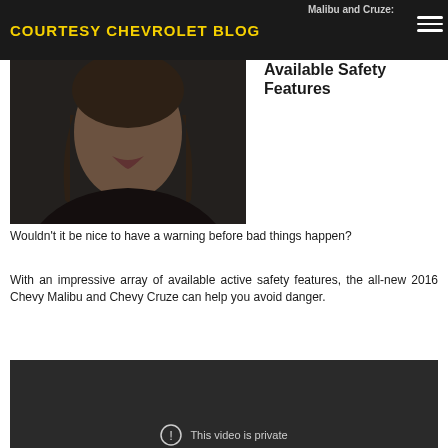COURTESY CHEVROLET BLOG
Malibu and Cruze: Available Safety Features
[Figure (photo): Close-up photo of a woman's face with brown hair, partially lit, dark background]
Wouldn't it be nice to have a warning before bad things happen?
With an impressive array of available active safety features, the all-new 2016 Chevy Malibu and Chevy Cruze can help you avoid danger.
[Figure (screenshot): Dark video player showing 'This video is private' message with an info icon]